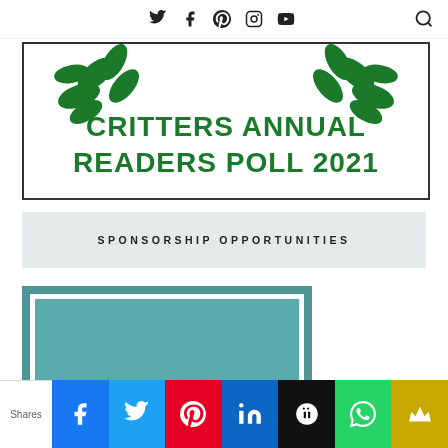Social icons: Twitter, Facebook, Pinterest, Instagram, YouTube; Search icon
[Figure (illustration): Critters Annual Readers Poll 2021 banner with green laurel leaves decoration and bold green text]
SPONSORSHIP OPPORTUNITIES
[Figure (other): Teal/green colored card with white border inner box]
Shares | Facebook | Twitter | Pinterest | LinkedIn | Buffer | WhatsApp | Crown